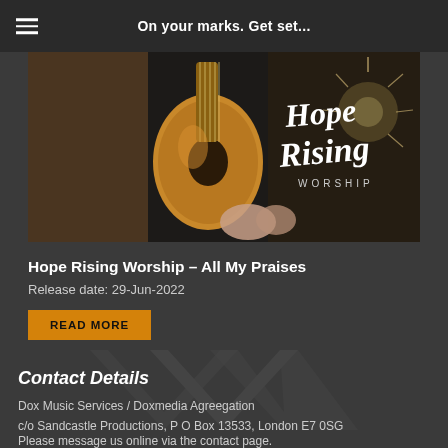On your marks. Get set...
[Figure (photo): Hope Rising Worship promotional image showing a person holding an acoustic guitar with the text 'Hope Rising WORSHIP' overlaid on a dark background with sparkle effects]
Hope Rising Worship – All My Praises
Release date: 29-Jun-2022
Contact Details
Dox Music Services / Doxmedia Agreegation
c/o Sandcastle Productions, P O Box 13533, London E7 0SG
Please message us online via the contact page.